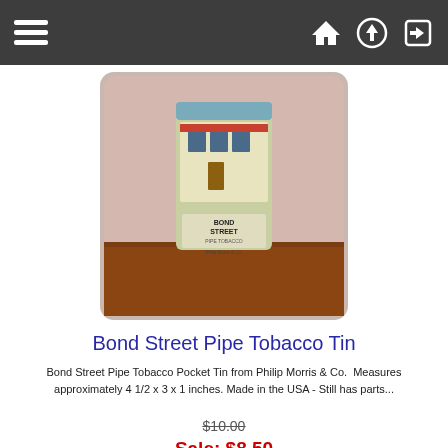Navigation bar with menu, home, upload, and login icons
[Figure (photo): Bond Street Pipe Tobacco Tin product photo - a rectangular tin with illustrated storefront label reading BOND STREET PIPE TOBACCO by Philip Morris & Co, placed on a wooden surface]
Bond Street Pipe Tobacco Tin
Bond Street Pipe Tobacco Pocket Tin from Philip Morris & Co.  Measures approximately 4 1/2 x 3 x 1 inches. Made in the USA - Still has parts...
$10.00
Sale: $8.50
Save: 15% off
... more info
sold out